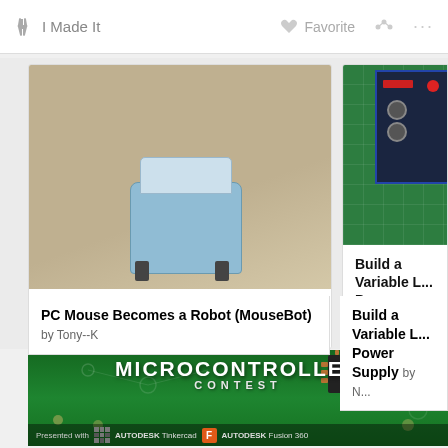I Made It   Favorite   ... ...
[Figure (photo): Photo of a robot made from a PC mouse on a tan/beige surface]
PC Mouse Becomes a Robot (MouseBot) by Tony--K
[Figure (photo): Photo of a variable power supply unit on a green cutting mat with blue housing and red indicator]
Build a Variable L... Power Supply by N...
[Figure (photo): Microcontroller Contest banner: close-up photo of IC chip being placed on green PCB with tweezers. Text: MICROCONTROLLER CONTEST. Presented with AUTODESK Tinkercad and AUTODESK Fusion 360 logos.]